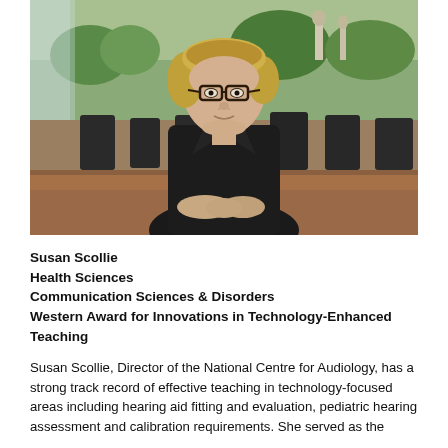[Figure (photo): A woman with short blonde hair and glasses, wearing a dark jacket, sitting at a wooden table in what appears to be a lecture hall or cafeteria. She is facing the camera. In the background there are rows of chairs and tables, and a large mural or painting on the wall depicting an outdoor scene with statues and greenery.]
Susan Scollie
Health Sciences
Communication Sciences & Disorders
Western Award for Innovations in Technology-Enhanced Teaching
Susan Scollie, Director of the National Centre for Audiology, has a strong track record of effective teaching in technology-focused areas including hearing aid fitting and evaluation, pediatric hearing assessment and calibration requirements. She served as the